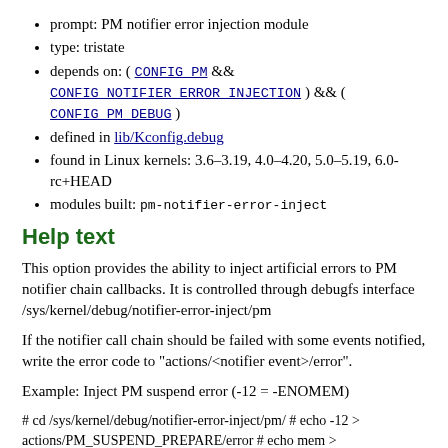prompt: PM notifier error injection module
type: tristate
depends on: ( CONFIG_PM && CONFIG_NOTIFIER_ERROR_INJECTION ) && ( CONFIG_PM_DEBUG )
defined in lib/Kconfig.debug
found in Linux kernels: 3.6–3.19, 4.0–4.20, 5.0–5.19, 6.0-rc+HEAD
modules built: pm-notifier-error-inject
Help text
This option provides the ability to inject artificial errors to PM notifier chain callbacks. It is controlled through debugfs interface /sys/kernel/debug/notifier-error-inject/pm
If the notifier call chain should be failed with some events notified, write the error code to "actions/<notifier event>/error".
Example: Inject PM suspend error (-12 = -ENOMEM)
# cd /sys/kernel/debug/notifier-error-inject/pm/ # echo -12 > actions/PM_SUSPEND_PREPARE/error # echo mem > /sys/power/state bash: echo: write error: Cannot allocate memory